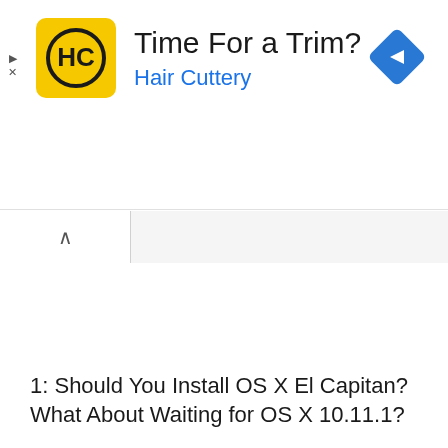[Figure (screenshot): Hair Cuttery advertisement banner with yellow square logo showing 'HC' text in circle, title 'Time For a Trim?', subtitle 'Hair Cuttery' in blue, and a blue navigation diamond icon on the right. Small play and X controls on the left side.]
[Figure (screenshot): Browser tab bar with a white active tab containing an up-arrow chevron icon]
1: Should You Install OS X El Capitan? What About Waiting for OS X 10.11.1?